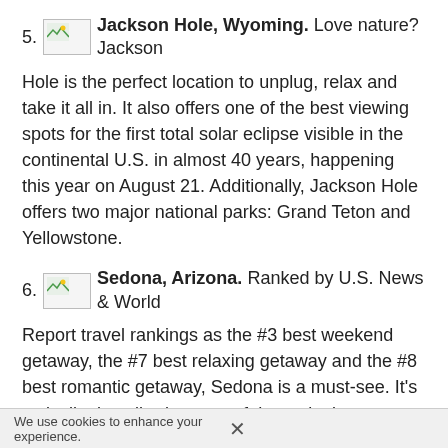5. [image] Jackson Hole, Wyoming. Love nature? Jackson Hole is the perfect location to unplug, relax and take it all in. It also offers one of the best viewing spots for the first total solar eclipse visible in the continental U.S. in almost 40 years, happening this year on August 21. Additionally, Jackson Hole offers two major national parks: Grand Teton and Yellowstone.
6. [image] Sedona, Arizona. Ranked by U.S. News & World Report travel rankings as the #3 best weekend getaway, the #7 best relaxing getaway and the #8 best romantic getaway, Sedona is a must-see. It's typically described as one of the nation's most beautiful destinations –the stunning landscapes of red rocks and sandstone buttes with a blue sky make it impossible not to feel romantic
We use cookies to enhance your experience.